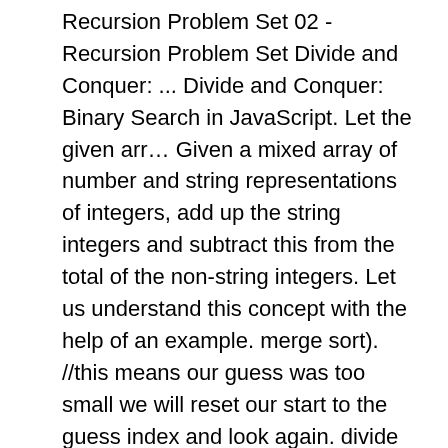Recursion Problem Set 02 - Recursion Problem Set Divide and Conquer: ... Divide and Conquer: Binary Search in JavaScript. Let the given arr… Given a mixed array of number and string representations of integers, add up the string integers and subtract this from the total of the non-string integers. Let us understand this concept with the help of an example. merge sort). //this means our guess was too small we will reset our start to the guess index and look again. divide and conquer phrase. Divide and conquer is an algorithmic strategy works by breaking down a problem into two or more sub-problems of the same or related type, solving them and make an addition of the sub problems